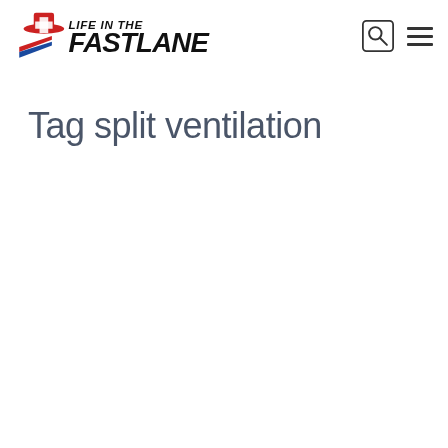Life in the Fast Lane
Tag split ventilation